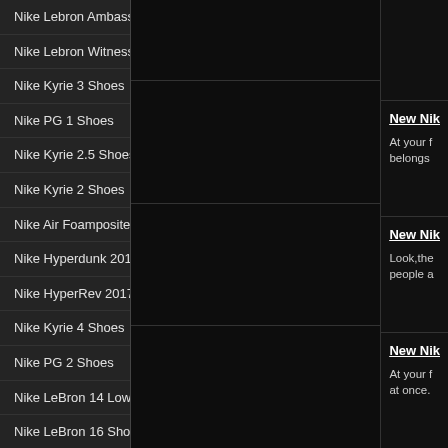Nike Lebron Ambassador VIII
Nike Lebron Witness 1
Nike Kyrie 3 Shoes
Nike PG 1 Shoes
Nike Kyrie 2.5 Shoes
Nike Kyrie 2 Shoes
Nike Air Foamposite
Nike Hyperdunk 2017 Shoes
Nike HyperRev 2017
Nike Kyrie 4 Shoes
Nike PG 2 Shoes
Nike LeBron 14 Low
Nike LeBron 16 Shoes
2018 Nike Air Max Dominate EP
Boy's Nike Basketball Shoes
Kevin Durant 14 Shoes
New Nik...
At your f... belongs...
New Nik...
Look,the... people a...
New Nik...
At your f... at once.